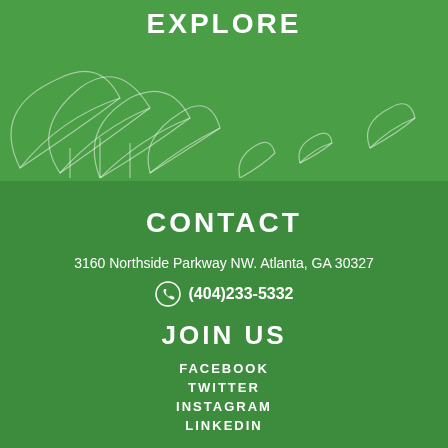EXPLORE
[Figure (illustration): Decorative leaf illustrations in white outline on green background]
CONTACT
3160 Northside Parkway NW. Atlanta, GA 30327
(404)233-5332
JOIN US
FACEBOOK
TWITTER
INSTAGRAM
LINKEDIN